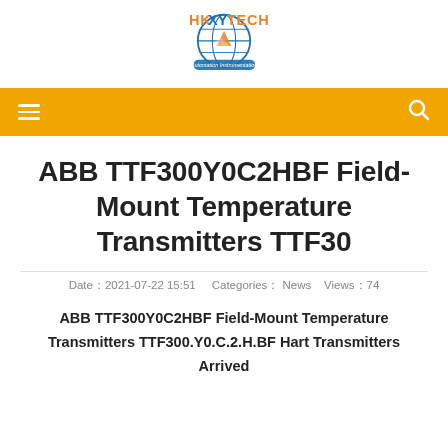[Figure (logo): HKXYTECH Automation Instrumentation company logo with globe and stylized text]
Navigation bar with hamburger menu and search icon
ABB TTF300Y0C2HBF Field-Mount Temperature Transmitters TTF30
Date：2021-07-22 15:51   Categories： News   Views：74
ABB TTF300Y0C2HBF Field-Mount Temperature Transmitters TTF300.Y0.C.2.H.BF Hart Transmitters Arrived